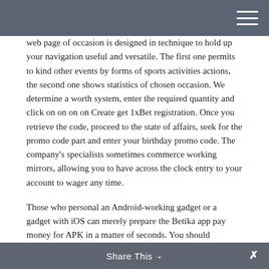web page of occasion is designed in technique to hold up your navigation useful and versatile. The first one permits to kind other events by forms of sports activities actions, the second one shows statistics of chosen occasion. We determine a worth system, enter the required quantity and click on on on on Create get 1xBet registration. Once you retrieve the code, proceed to the state of affairs, seek for the promo code part and enter your birthday promo code. The company's specialists sometimes commerce working mirrors, allowing you to have across the clock entry to your account to wager any time.
Those who personal an Android-working gadget or a gadget with iOS can merely prepare the Betika app pay money for APK in a matter of seconds. You should
Share This